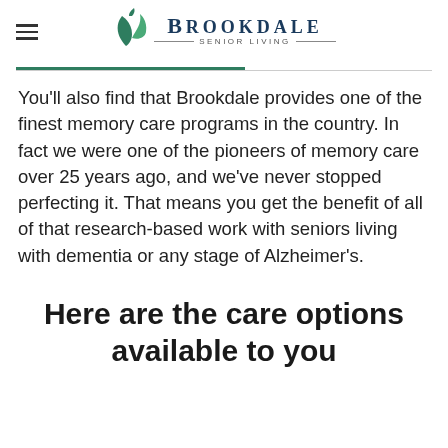Brookdale Senior Living
You'll also find that Brookdale provides one of the finest memory care programs in the country. In fact we were one of the pioneers of memory care over 25 years ago, and we've never stopped perfecting it. That means you get the benefit of all of that research-based work with seniors living with dementia or any stage of Alzheimer's.
Here are the care options available to you